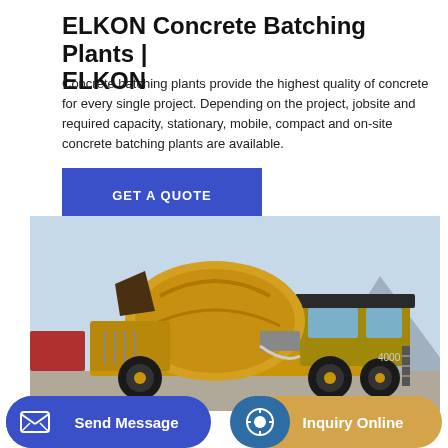ELKON Concrete Batching Plants | ELKON
Concrete batching plants provide the highest quality of concrete for every single project. Depending on the project, jobsite and required capacity, stationary, mobile, compact and on-site concrete batching plants are available.
[Figure (other): Blue 'GET A QUOTE' button]
[Figure (photo): A yellow concrete mixer truck (self-loading mobile concrete mixer) parked outdoors against a blue sky with mountains in the background.]
[Figure (other): Bottom bar with two buttons: 'Send Message' (blue) on the left and 'Inquiry Online' (gold/yellow) on the right, each with an icon.]